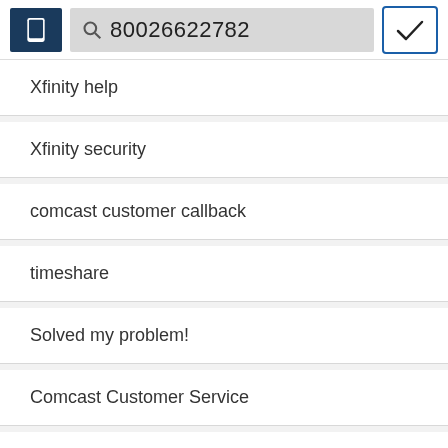[Figure (screenshot): Mobile app top bar with phone icon, search field showing number 80026622782, and a checkmark button]
Xfinity help
Xfinity security
comcast customer callback
timeshare
Solved my problem!
Comcast Customer Service
This is Comcast/Xfinity